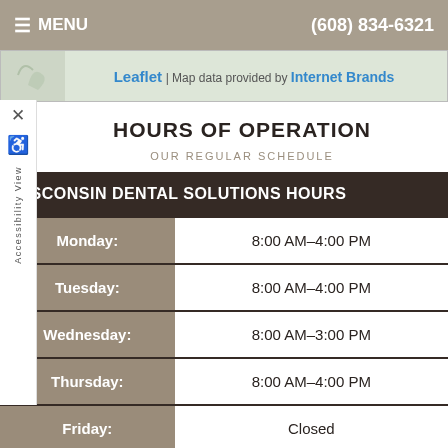≡ MENU   (608) 834-6321
[Figure (map): Map strip showing Leaflet map attribution. Text: Leaflet | Map data provided by Internet Brands]
HOURS OF OPERATION
OUR REGULAR SCHEDULE
| WISCONSIN DENTAL SOLUTIONS HOURS |  |
| --- | --- |
| Monday: | 8:00 AM–4:00 PM |
| Tuesday: | 8:00 AM–4:00 PM |
| Wednesday: | 8:00 AM–3:00 PM |
| Thursday: | 8:00 AM–4:00 PM |
| Friday: | Closed |